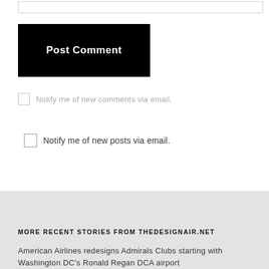[Figure (other): Input text box (partially visible at top)]
Post Comment
Notify me of new comments via email.
Notify me of new posts via email.
MORE RECENT STORIES FROM THEDESIGNAIR.NET
American Airlines redesigns Admirals Clubs starting with Washington DC's Ronald Regan DCA airport